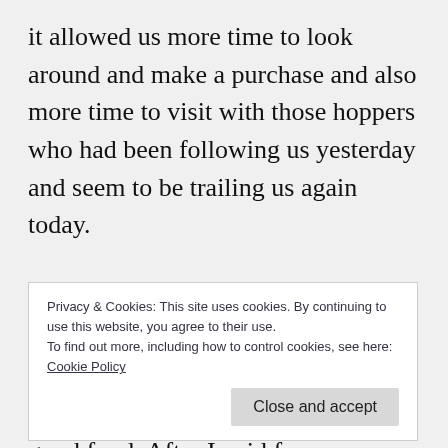it allowed us more time to look around and make a purchase and also more time to visit with those hoppers who had been following us yesterday and seem to be trailing us again today.
Deb and Sue had arrived at this shop shortly after us. They had just come from The Coffee Landing Café downtown and were raving about the good food. After I paid for my purchase
Privacy & Cookies: This site uses cookies. By continuing to use this website, you agree to their use.
To find out more, including how to control cookies, see here: Cookie Policy
hop today so we ordered a couple of Raspberry-